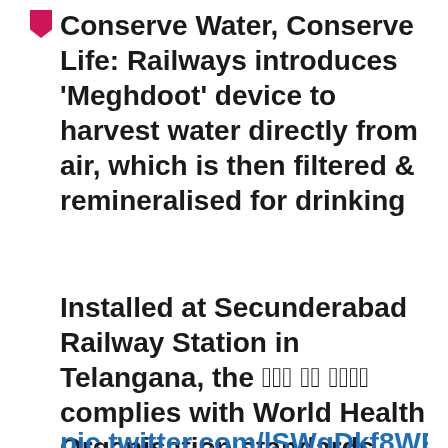Conserve Water, Conserve Life: Railways introduces 'Meghdoot' device to harvest water directly from air, which is then filtered & remineralised for drinking
Installed at Secunderabad Railway Station in Telangana, the मेघ दूत यंत्र complies with World Health Organisation standards
pic.twitter.com/lSWqDkf8WR